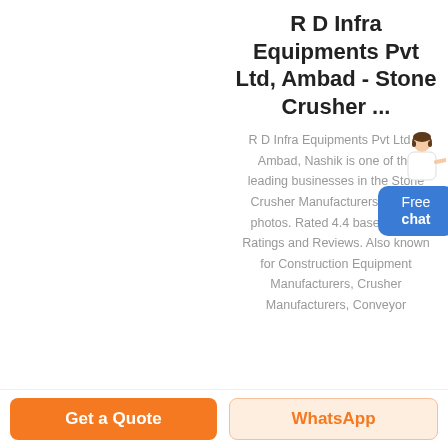R D Infra Equipments Pvt Ltd, Ambad - Stone Crusher ...
R D Infra Equipments Pvt Ltd in Ambad, Nashik is one of the leading businesses in the Stone Crusher Manufacturers with 29 photos. Rated 4.4 based on 96 Ratings and Reviews. Also known for Construction Equipment Manufacturers, Crusher Manufacturers, Conveyor
Get a Quote
WhatsApp